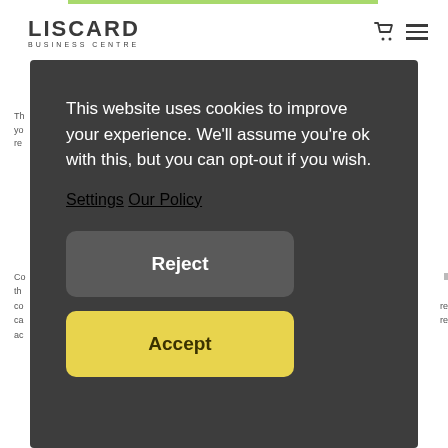[Figure (logo): Liscard Business Centre logo with text LISCARD in bold and BUSINESS CENTRE below]
This website uses cookies to improve your experience. We'll assume you're ok with this, but you can opt-out if you wish.
Settings Our Policy
Reject
Accept